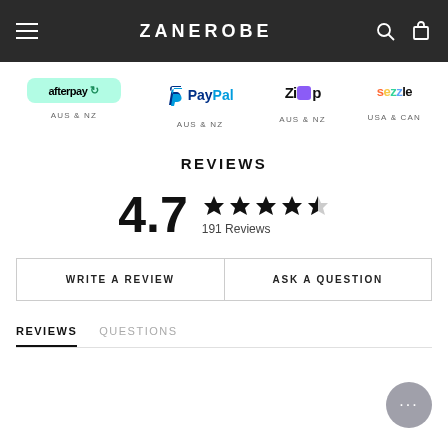ZANEROBE
[Figure (logo): Afterpay logo - green badge with afterpay text - AUS & NZ]
[Figure (logo): PayPal logo - blue text with P icon - AUS & NZ]
[Figure (logo): Zip logo - black text with purple box - AUS & NZ]
[Figure (logo): Sezzle logo - multicolor text - USA & CAN]
REVIEWS
4.7 ★★★★½ 191 Reviews
WRITE A REVIEW
ASK A QUESTION
REVIEWS   QUESTIONS